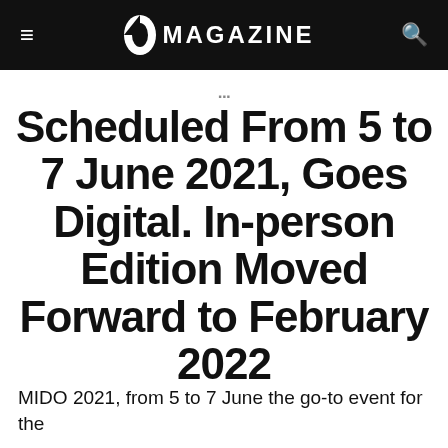≡  V MAGAZINE  🔍
Scheduled From 5 to 7 June 2021, Goes Digital. In-person Edition Moved Forward to February 2022
MIDO 2021, from 5 to 7 June the go-to event for the